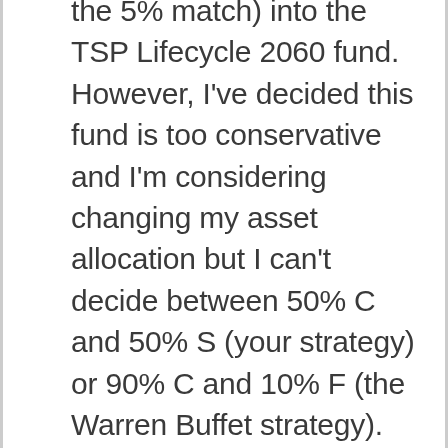the 5% match) into the TSP Lifecycle 2060 fund. However, I've decided this fund is too conservative and I'm considering changing my asset allocation but I can't decide between 50% C and 50% S (your strategy) or 90% C and 10% F (the Warren Buffet strategy). I'm also not sure how close to retirement I should start making my retirement fund